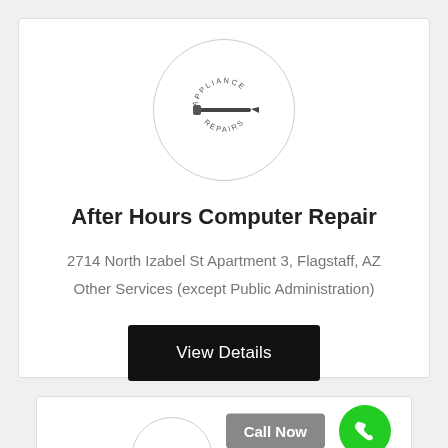[Figure (logo): Circular logo with 'APPLIANCE REPAIRS' text and a screwdriver icon in the center]
After Hours Computer Repair
2714 North Izabel St Apartment 3, Flagstaff, AZ
Other Services (except Public Administration)
View Details
Call Now
[Figure (logo): Partial circular logo visible at bottom of second card]